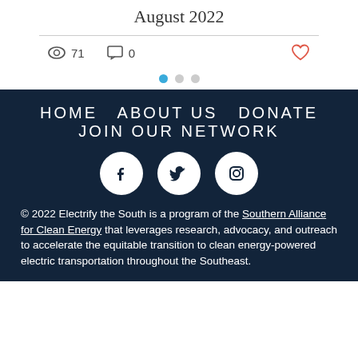August 2022
71 views  0 comments
[Figure (other): Pagination dots: one active blue dot and two grey dots]
HOME   ABOUT US   DONATE
JOIN OUR NETWORK
[Figure (other): Social media icons: Facebook, Twitter, Instagram]
© 2022 Electrify the South is a program of the Southern Alliance for Clean Energy that leverages research, advocacy, and outreach to accelerate the equitable transition to clean energy-powered electric transportation throughout the Southeast.